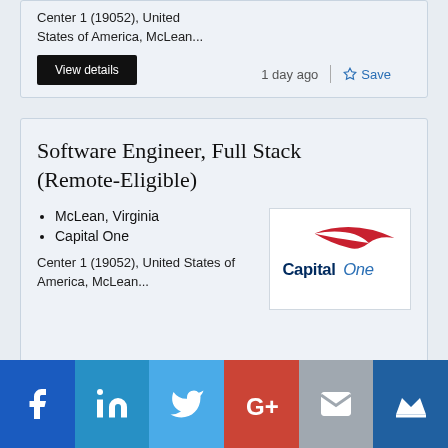Center 1 (19052), United States of America, McLean...
View details   1 day ago   Save
Software Engineer, Full Stack (Remote-Eligible)
McLean, Virginia
Capital One
Center 1 (19052), United States of America, McLean...
[Figure (logo): Capital One logo — red swoosh over dark blue bold text 'Capital One']
View details   1 day ago   Save